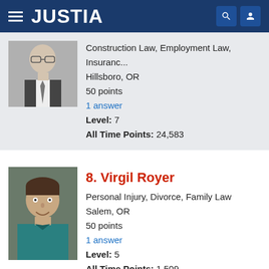JUSTIA
Construction Law, Employment Law, Insuranc...
Hillsboro, OR
50 points
1 answer
Level: 7
All Time Points: 24,583
8. Virgil Royer
Personal Injury, Divorce, Family Law
Salem, OR
50 points
1 answer
Level: 5
All Time Points: 1,509
Find Medical Malpractice Answerers by